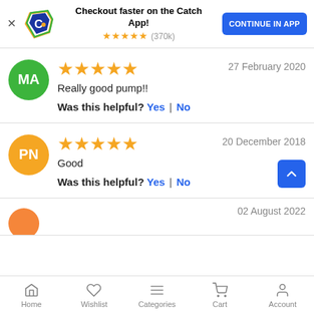[Figure (screenshot): Catch app promotional banner with logo, star rating (370k reviews), and Continue in App button]
Really good pump!!
Was this helpful? Yes | No
27 February 2020
Good
Was this helpful? Yes | No
20 December 2018
02 August 2022
Home  Wishlist  Categories  Cart  Account